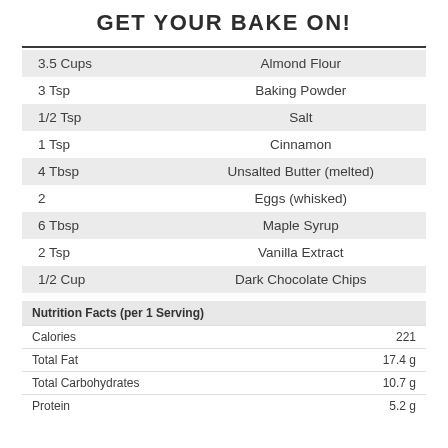GET YOUR BAKE ON!
| Amount | Ingredient |
| --- | --- |
| 3.5 Cups | Almond Flour |
| 3 Tsp | Baking Powder |
| 1/2 Tsp | Salt |
| 1 Tsp | Cinnamon |
| 4 Tbsp | Unsalted Butter (melted) |
| 2 | Eggs (whisked) |
| 6 Tbsp | Maple Syrup |
| 2 Tsp | Vanilla Extract |
| 1/2 Cup | Dark Chocolate Chips |
| Nutrition Facts (per 1 Serving) |  |
| --- | --- |
| Calories | 221 |
| Total Fat | 17.4 g |
| Total Carbohydrates | 10.7 g |
| Protein | 5.2 g |